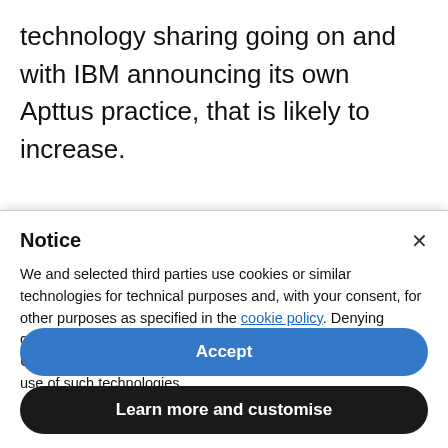technology sharing going on and with IBM announcing its own Apttus practice, that is likely to increase.
To hear what else Verma had to say listen to the
Notice
We and selected third parties use cookies or similar technologies for technical purposes and, with your consent, for other purposes as specified in the cookie policy. Denying consent may make related features unavailable.
Use the “Accept” button or close this notice to consent to the use of such technologies.
Accept
Learn more and customise